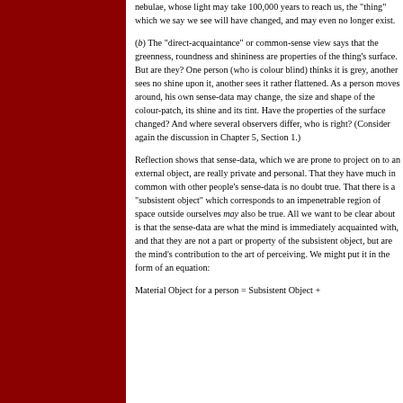nebulae, whose light may take 100,000 years to reach us, the "thing" which we say we see will have changed, and may even no longer exist.
(b) The "direct-acquaintance" or common-sense view says that the greenness, roundness and shininess are properties of the thing's surface. But are they? One person (who is colour blind) thinks it is grey, another sees no shine upon it, another sees it rather flattened. As a person moves around, his own sense-data may change, the size and shape of the colour-patch, its shine and its tint. Have the properties of the surface changed? And where several observers differ, who is right? (Consider again the discussion in Chapter 5, Section 1.)
Reflection shows that sense-data, which we are prone to project on to an external object, are really private and personal. That they have much in common with other people's sense-data is no doubt true. That there is a "subsistent object" which corresponds to an impenetrable region of space outside ourselves may also be true. All we want to be clear about is that the sense-data are what the mind is immediately acquainted with, and that they are not a part or property of the subsistent object, but are the mind's contribution to the art of perceiving. We might put it in the form of an equation:
Material Object for a person = Subsistent Object +